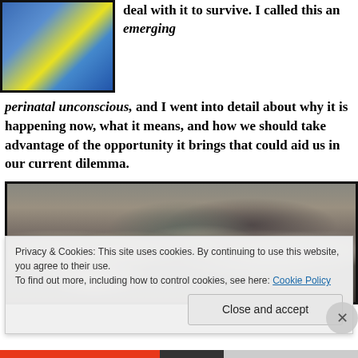[Figure (photo): Partial photo at top left showing a colorful image (blue and yellow tones), partially cropped, with a thick black border.]
deal with it to survive. I called this an emerging perinatal unconscious, and I went into detail about why it is happening now, what it means, and how we should take advantage of the opportunity it brings that could aid us in our current dilemma.
[Figure (photo): Large crowd of people at what appears to be a concert or public gathering, viewed from slightly above, black and white/grayscale tones.]
Privacy & Cookies: This site uses cookies. By continuing to use this website, you agree to their use.
To find out more, including how to control cookies, see here: Cookie Policy
Close and accept